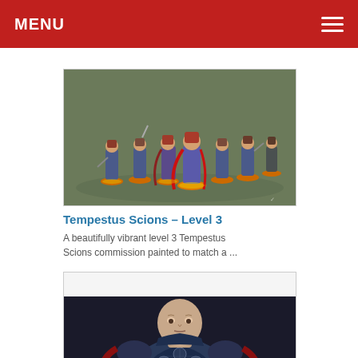MENU
[Figure (photo): A group of painted Tempestus Scions miniatures on orange bases, arranged on a grey surface, detailed wargaming figures with armour and weapons.]
Tempestus Scions – Level 3
A beautifully vibrant level 3 Tempestus Scions commission painted to match a ...
[Figure (photo): Close-up of a painted wargaming miniature of a bald armoured figure with ornate dark blue/grey power armour and a cape, dark background.]